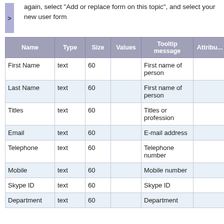again, select "Add or replace form on this topic", and select your new user form
| Name | Type | Size | Values | Tooltip message | Attribu... |
| --- | --- | --- | --- | --- | --- |
| First Name | text | 60 |  | First name of person |  |
| Last Name | text | 60 |  | First name of person |  |
| Titles | text | 60 |  | Titles or profession |  |
| Email | text | 60 |  | E-mail address |  |
| Telephone | text | 60 |  | Telephone number |  |
| Mobile | text | 60 |  | Mobile number |  |
| Skype ID | text | 60 |  | Skype ID |  |
| Department | text | 60 |  | Department |  |